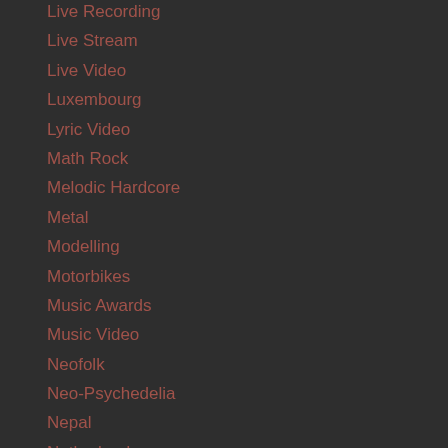Live Recording
Live Stream
Live Video
Luxembourg
Lyric Video
Math Rock
Melodic Hardcore
Metal
Modelling
Motorbikes
Music Awards
Music Video
Neofolk
Neo-Psychedelia
Nepal
Netherlands
New Wave
New Zealand
Noise
Norway
Original Soundtrack